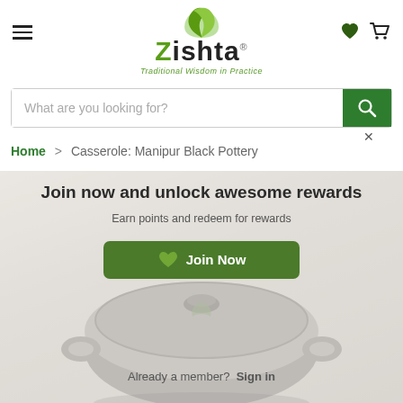[Figure (logo): Zishta logo with green leaf icon and tagline 'Traditional Wisdom in Practice']
What are you looking for?
Home > Casserole: Manipur Black Pottery
[Figure (photo): Product page screenshot showing a black pottery casserole with a 'Join now and unlock awesome rewards' membership overlay. Text: 'Earn points and redeem for rewards', 'Join Now' button, 'Already a member? Sign in']